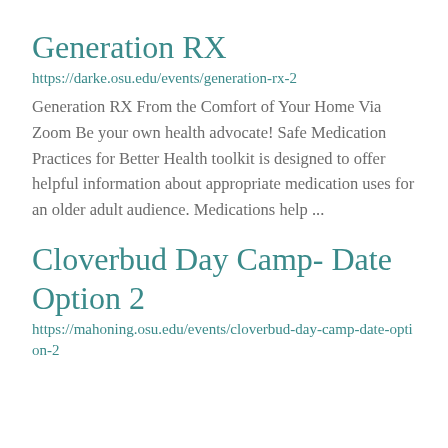Generation RX
https://darke.osu.edu/events/generation-rx-2
Generation RX From the Comfort of Your Home Via Zoom Be your own health advocate! Safe Medication Practices for Better Health toolkit is designed to offer helpful information about appropriate medication uses for an older adult audience. Medications help ...
Cloverbud Day Camp- Date Option 2
https://mahoning.osu.edu/events/cloverbud-day-camp-date-option-2